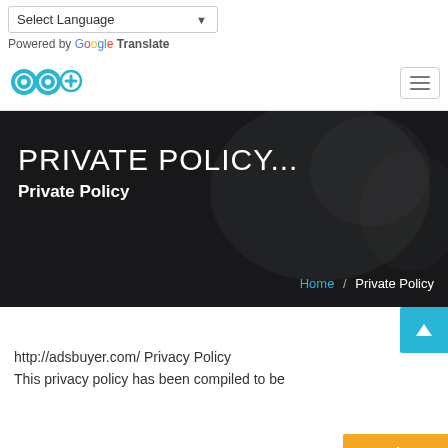Select Language
Powered by Google Translate
[Figure (logo): ab+ logo in cyan/light blue]
PRIVATE POLICY...
Private Policy
Home / Private Policy
http://adsbuyer.com/ Privacy Policy
This privacy policy has been compiled to be...